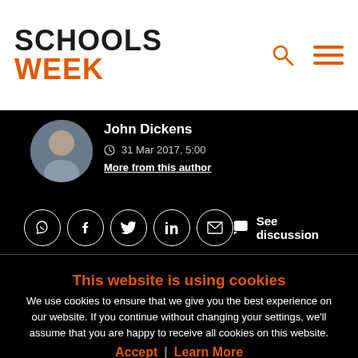SCHOOLS WEEK
[Figure (photo): Author photo of John Dickens, circular avatar]
John Dickens
31 Mar 2017, 5:00
More from this author
[Figure (infographic): Social sharing icons: WhatsApp, Facebook, Twitter, LinkedIn, Email; and See discussion button]
This website is using cookies
We use cookies to ensure that we give you the best experience on our website. If you continue without changing your settings, we'll assume that you are happy to receive all cookies on this website.
Accept / Learn More